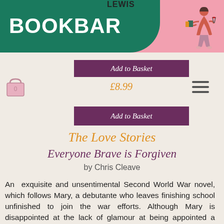[Figure (logo): BookBar logo with green and pink background banner, white bold text reading BOOKBAR, and an illustrated woman figure carrying books and a wine glass]
[Figure (illustration): Pink shopping basket icon with number 0]
Add to Basket
£8.99
Add to Basket
The Love Stories
Everyone Brave is Forgiven
by Chris Cleave
An exquisite and unsentimental Second World War novel, which follows Mary, a debutante who leaves finishing school unfinished to join the war efforts. Although Mary is disappointed at the lack of glamour at being appointed a school teacher rather than a spy, what follows is a stunning love story set on the home front that so beautifully captures the period...